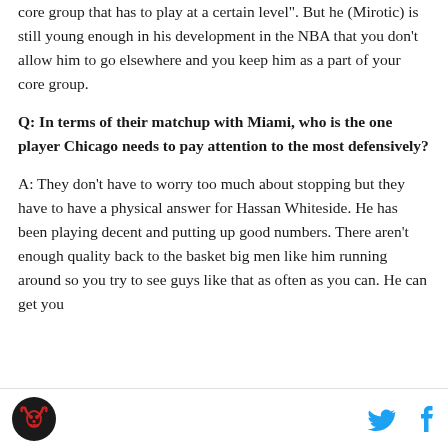core group that has to play at a certain level". But he (Mirotic) is still young enough in his development in the NBA that you don’t allow him to go elsewhere and you keep him as a part of your core group.
Q: In terms of their matchup with Miami, who is the one player Chicago needs to pay attention to the most defensively?
A: They don’t have to worry too much about stopping but they have to have a physical answer for Hassan Whiteside. He has been playing decent and putting up good numbers. There aren’t enough quality back to the basket big men like him running around so you try to see guys like that as often as you can. He can get you
[Figure (logo): Circular black logo with stylized bull head design]
[Figure (illustration): Twitter bird icon in blue and Facebook 'f' icon in blue, social media share buttons]